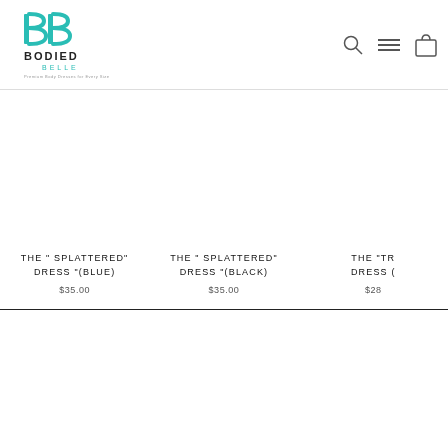[Figure (logo): Bodied Belle logo with teal BB monogram and brand name]
THE " SPLATTERED" DRESS "(BLUE)
$35.00
THE " SPLATTERED" DRESS "(BLACK)
$35.00
THE "TR... DRESS (
$28...